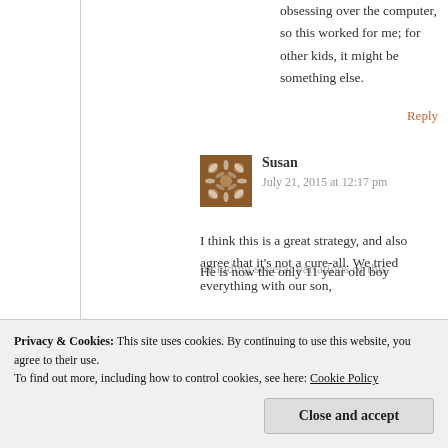obsessing over the computer, so this worked for me; for other kids, it might be something else.
Reply
[Figure (photo): Avatar image for user Susan - brown patterned square thumbnail]
Susan
July 21, 2015 at 12:17 pm
I think this is a great strategy, and also agree that it's not a cure-all. We tried everything with our son, including several variations of this
He is now the only 11 year old boy
Privacy & Cookies: This site uses cookies. By continuing to use this website, you agree to their use.
To find out more, including how to control cookies, see here: Cookie Policy
Close and accept